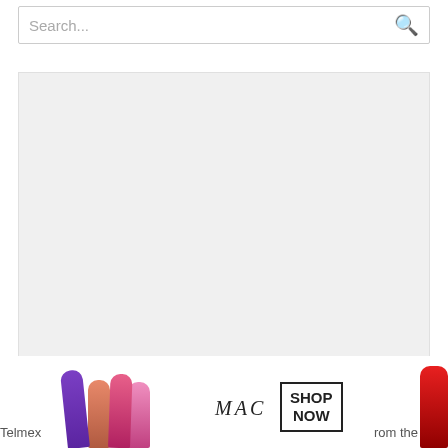[Figure (screenshot): Search bar with placeholder text 'Search...' and a magnifying glass icon on the right]
[Figure (other): Large light gray placeholder advertisement rectangle]
Recent Posts
[Figure (other): CLOSE button (gray background, white text)]
[Figure (other): MAC cosmetics advertisement banner showing colorful lipsticks, MAC logo in italic, SHOP NOW button, and a red lipstick. Partial text 'Telmex' and 'rom the' visible at bottom edges.]